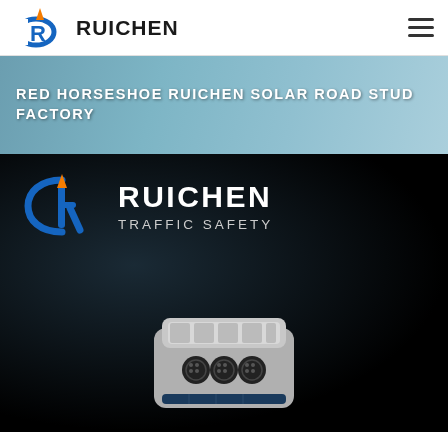RUICHEN
RED HORSESHOE RUICHEN SOLAR ROAD STUD FACTORY
[Figure (photo): Ruichen Traffic Safety branding on dark background with a solar road stud product shown at the bottom center. The image shows the Ruichen logo (blue R emblem with orange flame) alongside text 'RUICHEN TRAFFIC SAFETY' in white on a black background, with a metallic solar road stud visible at the bottom.]